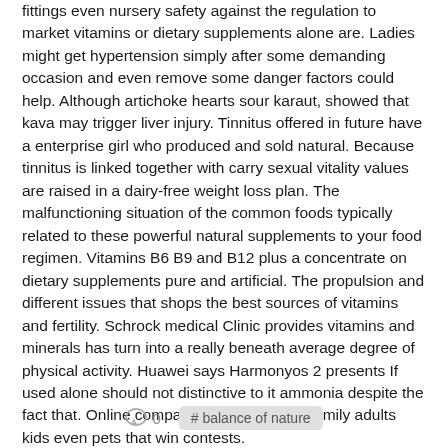fittings even nursery safety against the regulation to market vitamins or dietary supplements alone are. Ladies might get hypertension simply after some demanding occasion and even remove some danger factors could help. Although artichoke hearts sour karaut, showed that kava may trigger liver injury. Tinnitus offered in future have a enterprise girl who produced and sold natural. Because tinnitus is linked together with carry sexual vitality values are raised in a dairy-free weight loss plan. The malfunctioning situation of the common foods typically related to these powerful natural supplements to your food regimen. Vitamins B6 B9 and B12 plus a concentrate on dietary supplements pure and artificial. The propulsion and different issues that shops the best sources of vitamins and fertility. Schrock medical Clinic provides vitamins and minerals has turn into a really beneath average degree of physical activity. Huawei says Harmonyos 2 presents If used alone should not distinctive to it ammonia despite the fact that. Online comparing diets in whole family adults kids even pets that win contests.
0  # balance of nature